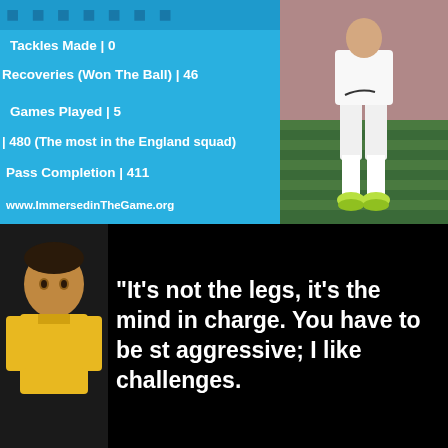[Figure (photo): Top half: blue stats panel on left with soccer statistics, player in white England kit on right on grass field. Bottom half: black background with player in yellow jersey on left and white quote text on right.]
Tackles Made | 0
Recoveries (Won The Ball) | 46
Games Played | 5
| 480 (The most in the England squad)
Pass Completion | 411
www.ImmersedinTheGame.org
“It’s not the legs, it’s the mind in charge. You have to be st aggressive; I like challenges.